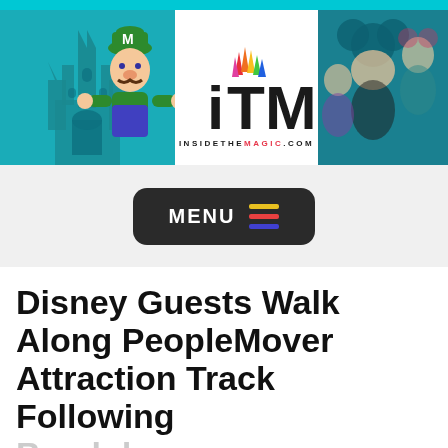[Figure (screenshot): Inside the Magic (ITM) website header banner showing Disney castle on left, Luigi character center-left, ITM logo in white center panel, Disney characters on right]
[Figure (other): MENU button with colorful horizontal lines icon on dark rounded rectangle background]
Disney Guests Walk Along PeopleMover Attraction Track Following Breakdown